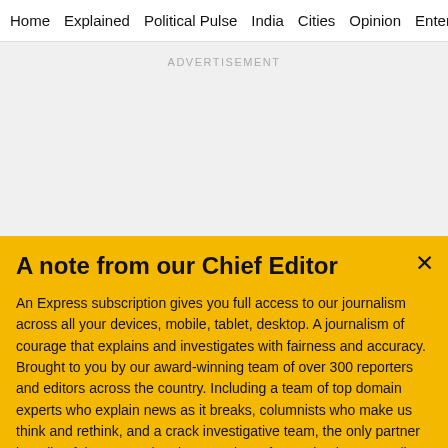Home   Explained   Political Pulse   India   Cities   Opinion   Entertainment
[Figure (other): Advertisement placeholder block with grey background]
A note from our Chief Editor
An Express subscription gives you full access to our journalism across all your devices, mobile, tablet, desktop. A journalism of courage that explains and investigates with fairness and accuracy. Brought to you by our award-winning team of over 300 reporters and editors across the country. Including a team of top domain experts who explain news as it breaks, columnists who make us think and rethink, and a crack investigative team, the only partner in India of the International Consortium of Investigative Journalists. Journalism